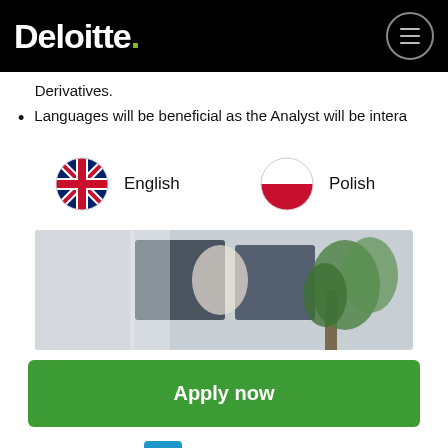Deloitte.
Derivatives.
Languages will be beneficial as the Analyst will be intera
[Figure (infographic): English flag (UK Union Jack circle) and Polish flag (white/red circle) language indicators with labels English and Polish]
[Figure (photo): Office photo showing a person working at a desk with monitors and a plant in the background]
Apply now
Share this job: